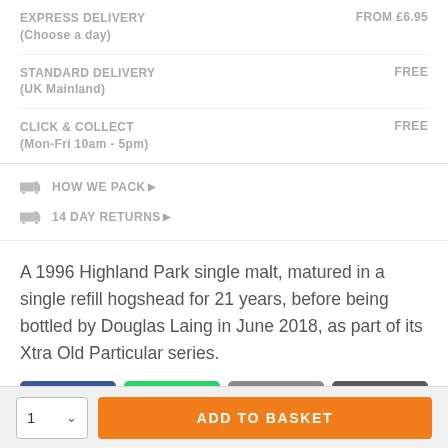| Delivery Type | Price |
| --- | --- |
| EXPRESS DELIVERY
(Choose a day) | FROM £6.95 |
| STANDARD DELIVERY
(UK Mainland) | FREE |
| CLICK & COLLECT
(Mon-Fri 10am - 5pm) | FREE |
HOW WE PACK ▶
14 DAY RETURNS ▶
A 1996 Highland Park single malt, matured in a single refill hogshead for 21 years, before being bottled by Douglas Laing in June 2018, as part of its Xtra Old Particular series.
Share buttons: Facebook Share, WhatsApp Share, Email, More (...)
1 ▾  ADD TO BASKET